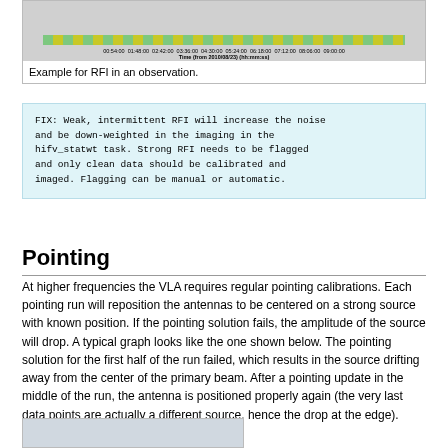[Figure (screenshot): Screenshot of RFI observation plot showing time axis from 00:54:00 to 09:00:00 from 2010/08/23 with colored RFI bands]
Example for RFI in an observation.
FIX: Weak, intermittent RFI will increase the noise and be down-weighted in the imaging in the hifv_statwt task. Strong RFI needs to be flagged and only clean data should be calibrated and imaged. Flagging can be manual or automatic.
Pointing
At higher frequencies the VLA requires regular pointing calibrations. Each pointing run will reposition the antennas to be centered on a strong source with known position. If the pointing solution fails, the amplitude of the source will drop. A typical graph looks like the one shown below. The pointing solution for the first half of the run failed, which results in the source drifting away from the center of the primary beam. After a pointing update in the middle of the run, the antenna is positioned properly again (the very last data points are actually a different source, hence the drop at the edge).
[Figure (screenshot): Screenshot of pointing calibration graph showing amplitude vs time]